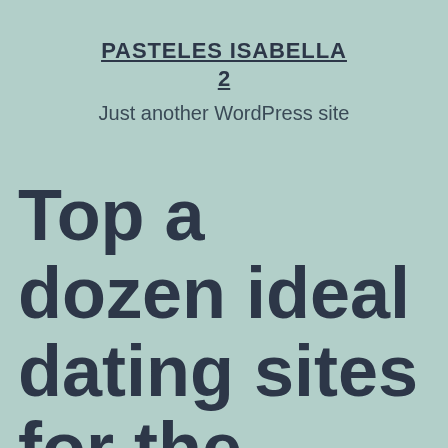PASTELES ISABELLA 2
Just another WordPress site
Top a dozen ideal dating sites for the Nigeria